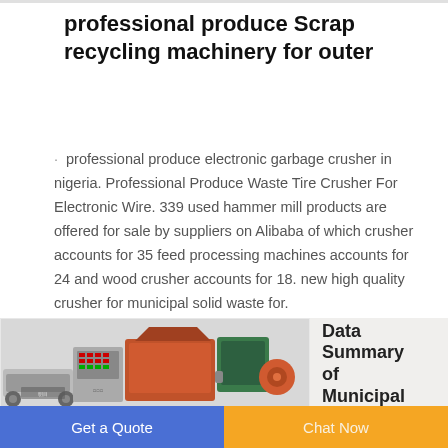professional produce Scrap recycling machinery for outer
· professional produce electronic garbage crusher in nigeria. Professional Produce Waste Tire Crusher For Electronic Wire. 339 used hammer mill products are offered for sale by suppliers on Alibaba of which crusher accounts for 35 feed processing machines accounts for 24 and wood crusher accounts for 18. new high quality crusher for municipal solid waste for.
[Figure (photo): Industrial scrap recycling machine / crusher equipment with orange and grey components, control panels, and conveyor parts.]
Data Summary of Municipal
Get a Quote
Chat Now